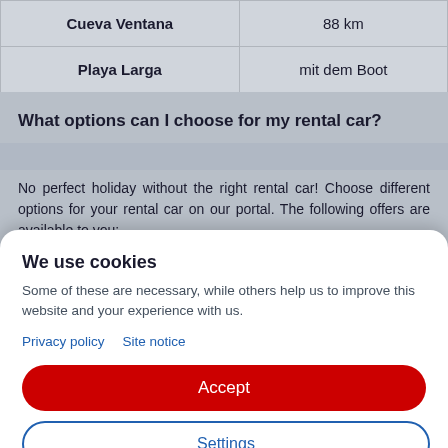| Destination | Distance/Transport |
| --- | --- |
| Cueva Ventana | 88 km |
| Playa Larga | mit dem Boot |
What options can I choose for my rental car?
No perfect holiday without the right rental car! Choose different options for your rental car on our portal. The following offers are available to you:
We use cookies
Some of these are necessary, while others help us to improve this website and your experience with us.
Privacy policy   Site notice
Accept
Settings